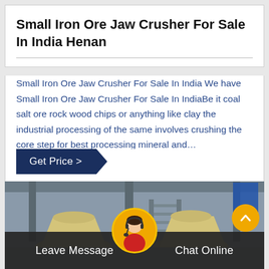Small Iron Ore Jaw Crusher For Sale In India Henan
Small Iron Ore Jaw Crusher For Sale In India We have Small Iron Ore Jaw Crusher For Sale In IndiaBe it coal salt ore rock wood chips or anything like clay the industrial processing of the same involves crushing the core step for best processing mineral and…
[Figure (photo): Industrial crushing equipment/jaw crushers in a factory setting with steel structure and staircase in background. Bottom bar with Leave Message and Chat Online buttons, and a customer service avatar.]